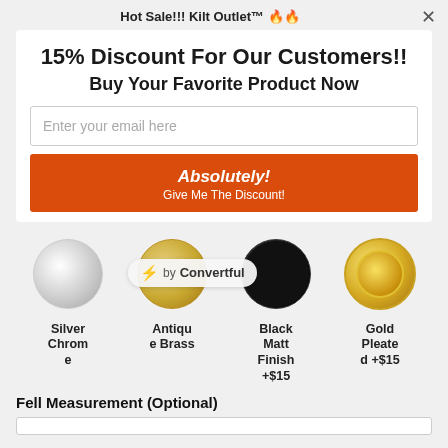Hot Sale!!! Kilt Outlet™ 🔥🔥
15% Discount For Our Customers!!
Buy Your Favorite Product Now
Enter your email here
Absolutely! Give Me The Discount!
[Figure (illustration): Four buckle options shown as circular swatches: Silver Chrome, Antique Brass, Black Matt Finish +$15, Gold Pleated +$15. A Convertful branding badge overlays the third and fourth swatches.]
Silver Chrome
Antique Brass
Black Matt Finish +$15
Gold Pleated +$15
Fell Measurement (Optional)